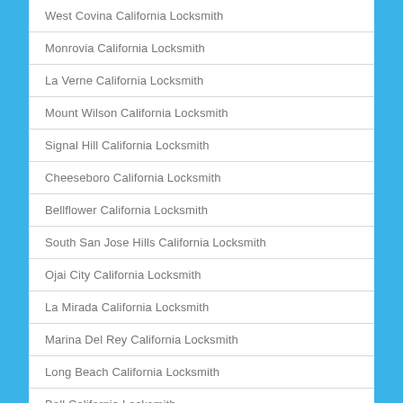West Covina California Locksmith
Monrovia California Locksmith
La Verne California Locksmith
Mount Wilson California Locksmith
Signal Hill California Locksmith
Cheeseboro California Locksmith
Bellflower California Locksmith
South San Jose Hills California Locksmith
Ojai City California Locksmith
La Mirada California Locksmith
Marina Del Rey California Locksmith
Long Beach California Locksmith
Bell California Locksmith
Sun Village California Locksmith